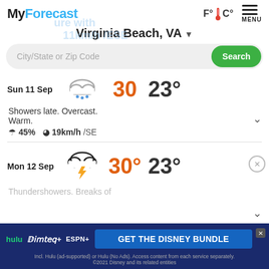MyForecast
Virginia Beach, VA
City/State or Zip Code  Search
Sun 11 Sep  30°  23°
Showers late. Overcast. Warm.
☂ 45%  ⊙ 19km/h /SE
Mon 12 Sep  30°  23°
Thundershowers. Breaks of
[Figure (screenshot): Disney Bundle advertisement banner: Hulu, Disney+, ESPN+ logos with 'GET THE DISNEY BUNDLE' call to action on dark blue background]